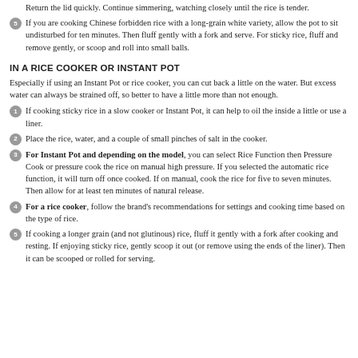Return the lid quickly. Continue simmering, watching closely until the rice is tender.
If you are cooking Chinese forbidden rice with a long-grain white variety, allow the pot to sit undisturbed for ten minutes. Then fluff gently with a fork and serve. For sticky rice, fluff and remove gently, or scoop and roll into small balls.
IN A RICE COOKER OR INSTANT POT
Especially if using an Instant Pot or rice cooker, you can cut back a little on the water. But excess water can always be strained off, so better to have a little more than not enough.
If cooking sticky rice in a slow cooker or Instant Pot, it can help to oil the inside a little or use a liner.
Place the rice, water, and a couple of small pinches of salt in the cooker.
For Instant Pot and depending on the model, you can select Rice Function then Pressure Cook or pressure cook the rice on manual high pressure. If you selected the automatic rice function, it will turn off once cooked. If on manual, cook the rice for five to seven minutes. Then allow for at least ten minutes of natural release.
For a rice cooker, follow the brand's recommendations for settings and cooking time based on the type of rice.
If cooking a longer grain (and not glutinous) rice, fluff it gently with a fork after cooking and resting. If enjoying sticky rice, gently scoop it out (or remove using the ends of the liner). Then it can be scooped or rolled for serving.